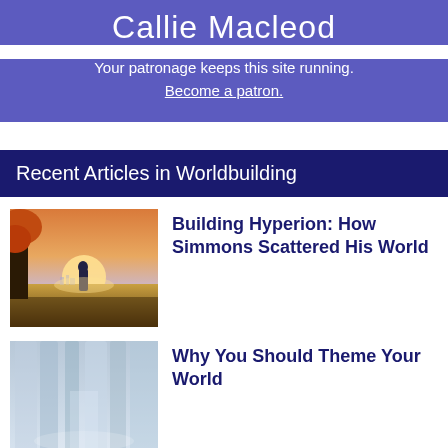Callie Macleod
Your patronage keeps this site running. Become a patron.
Recent Articles in Worldbuilding
[Figure (illustration): Fantasy landscape with a figure standing before a glowing sunset, with alien orange trees]
Building Hyperion: How Simmons Scattered His World
[Figure (illustration): Blurry futuristic interior corridor with cool blue tones]
Why You Should Theme Your World